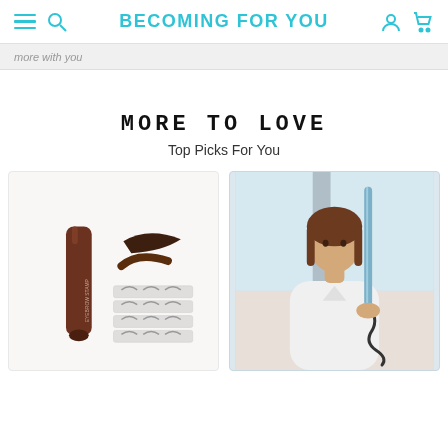BECOMING FOR YOU
more with you
MORE TO LOVE
Top Picks For You
[Figure (photo): Eyebrow stamp kit product with brown tube, brow stencils, and applicator on light background]
[Figure (photo): Woman holding a hair curling iron/wand tool, standing near a window outdoors]